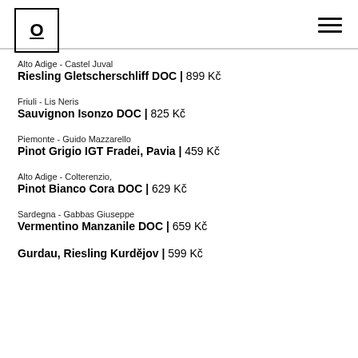O (logo with underline) | hamburger menu
Alto Adige - Castel Juval
Riesling Gletscherschliff DOC | 899 Kč
Friuli - Lis Neris
Sauvignon Isonzo DOC | 825 Kč
Piemonte - Guido Mazzarello
Pinot Grigio IGT Fradei, Pavia | 459 Kč
Alto Adige - Colterenzio,
Pinot Bianco Cora DOC | 629 Kč
Sardegna - Gabbas Giuseppe
Vermentino Manzanile DOC | 659 Kč
Gurdau, Riesling Kurdějov | 599 Kč